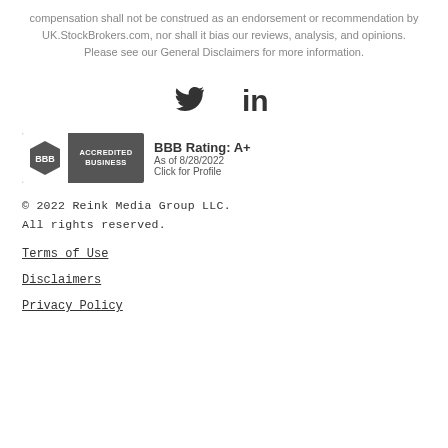compensation shall not be construed as an endorsement or recommendation by UK.StockBrokers.com, nor shall it bias our reviews, analysis, and opinions. Please see our General Disclaimers for more information.
[Figure (other): Twitter and LinkedIn social media icons]
[Figure (logo): BBB Accredited Business badge with rating A+, As of 8/28/2022, Click for Profile]
© 2022 Reink Media Group LLC. All rights reserved.
Terms of Use
Disclaimers
Privacy Policy